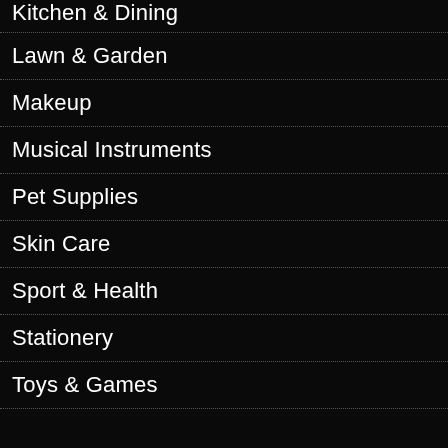Kitchen & Dining
Lawn & Garden
Makeup
Musical Instruments
Pet Supplies
Skin Care
Sport & Health
Stationery
Toys & Games